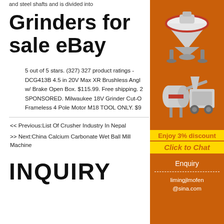and steel shafts and is divided into
Grinders for sale eBay
5 out of 5 stars. (327) 327 product ratings - DCG413B 4.5 in 20V Max XR Brushless Angle w/ Brake Open Box. $115.99. Free shipping. SPONSORED. Milwaukee 18V Grinder Cut-O Frameless 4 Pole Motor M18 TOOL ONLY. $9
<< Previous:List Of Crusher Industry In Nepal
>> Next:China Calcium Carbonate Wet Ball Mill Machine
[Figure (illustration): Orange advertisement panel showing two industrial grinding/crushing machines (top: cone crusher, bottom: mobile crushing plant and ball mill). Contains 'Enjoy 3% discount', 'Click to Chat', 'Enquiry', and 'limingjlmofen@sina.com' contact information.]
INQUIRY